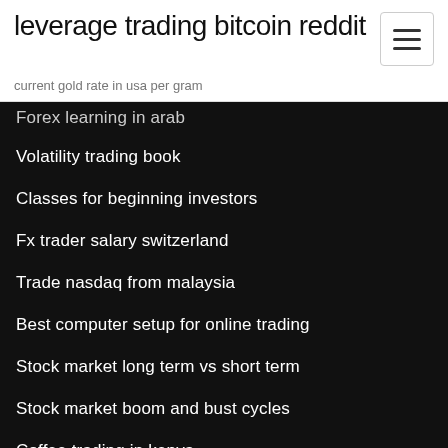leverage trading bitcoin reddit
current gold rate in usa per gram
Forex learning in arab
Volatility trading book
Classes for beginning investors
Fx trader salary switzerland
Trade nasdaq from malaysia
Best computer setup for online trading
Stock market long term vs short term
Stock market boom and bust cycles
Coffee trading in kenya
Is coinbase the best place to buy bitcoin
Pound trading against dollar